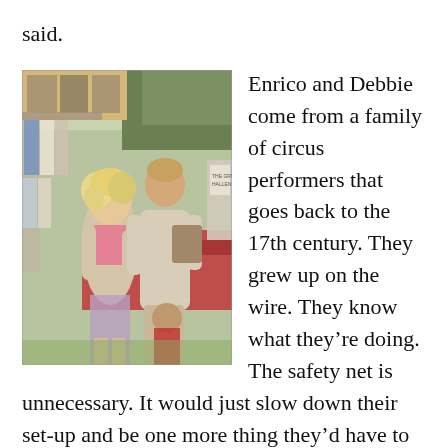said.
[Figure (photo): Two people standing outdoors at what appears to be a market or fair. A woman with curly blonde hair wearing a beige cardigan and pink top, and a taller man in a light-colored outfit, both looking at something. Clothing racks and a red vehicle visible in background.]
Enrico and Debbie come from a family of circus performers that goes back to the 17th century. They grew up on the wire. They know what they're doing. The safety net is unnecessary. It would just slow down their set-up and be one more thing they'd have to carry